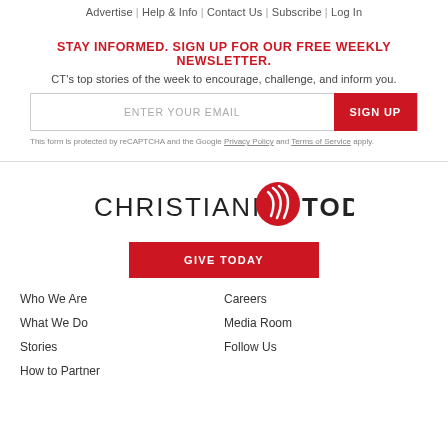Advertise | Help & Info | Contact Us | Subscribe | Log In
STAY INFORMED. SIGN UP FOR OUR FREE WEEKLY NEWSLETTER.
CT's top stories of the week to encourage, challenge, and inform you.
[Figure (other): Email newsletter signup form with text field labeled ENTER YOUR EMAIL and a red SIGN UP button]
This form is protected by reCAPTCHA and the Google Privacy Policy and Terms of Service apply.
[Figure (logo): Christianity Today logo — wordmark reading CHRISTIANITY TODAY with a red sphere icon]
GIVE TODAY
Who We Are
Careers
What We Do
Media Room
Stories
Follow Us
How to Partner